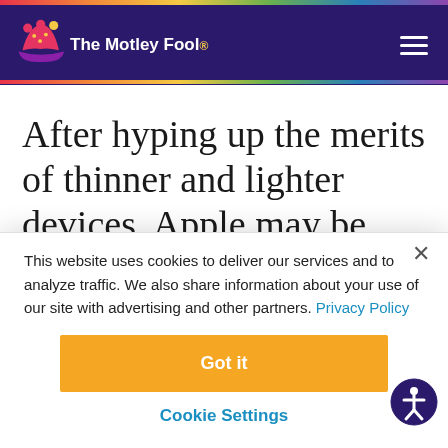[Figure (logo): The Motley Fool logo with jester hat and white text on dark purple header background with rainbow stripe]
After hyping up the merits of thinner and lighter devices, Apple may be
This website uses cookies to deliver our services and to analyze traffic. We also share information about your use of our site with advertising and other partners. Privacy Policy
Got it
Cookie Settings